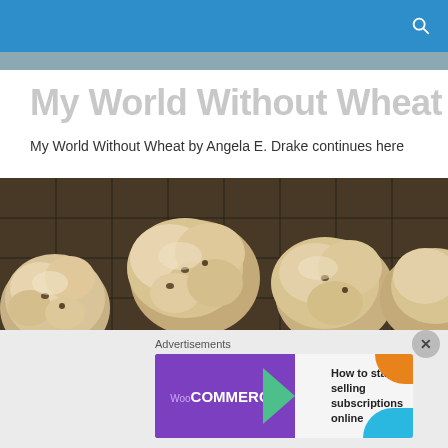My World Without Wheat
My World Without Wheat by Angela E. Drake continues here
[Figure (photo): Oatmeal or meringue cookies on a wire cooling rack, viewed from above]
POSTED IN BAGEL
[Figure (photo): Partial view of a blue decorative plate with food item, likely a bagel]
[Figure (screenshot): WooCommerce advertisement banner: 'How to start selling subscriptions online']